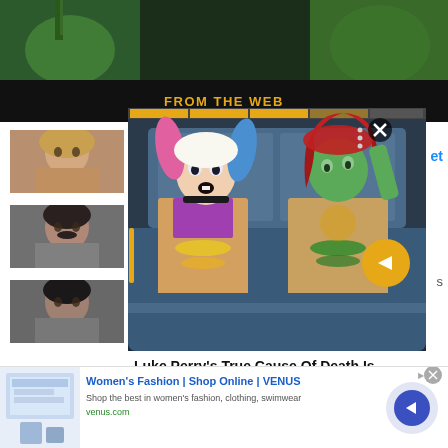[Figure (screenshot): Top strip showing animated cartoon scene with green character]
FROM THE WEB
[Figure (photo): Thumbnail of male actor with long blonde hair]
[Figure (photo): Thumbnail of male actor with dark hair and mustache]
[Figure (photo): Thumbnail of male actor]
[Figure (screenshot): Animated video overlay showing Harley Quinn and Poison Ivy cartoon characters sitting on a sofa, with progress bar, close button, three dots menu, and arrow navigation button]
et
s
Luke Perry's True Cause Of Death Is
[Figure (screenshot): Advertisement banner for Women's Fashion Shop Online VENUS with website screenshot thumbnail and CTA button]
Women's Fashion | Shop Online | VENUS
Shop the best in women's fashion, clothing, swimwear
venus.com